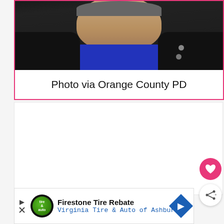[Figure (photo): A person wearing a black jacket over a blue shirt/sweater, photographed from chest up. Photo is cropped at the top of the frame.]
Photo via Orange County PD
[Figure (other): White advertisement area with UI buttons (heart/favorite button in pink, share button in white)]
[Figure (other): Advertisement banner: Firestone Tire Rebate - Virginia Tire & Auto of Ashburn, with Firestone logo and blue directional arrow icon]